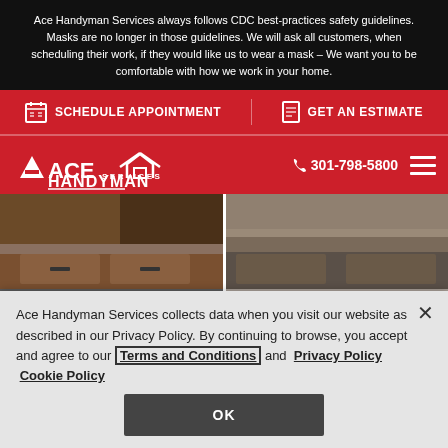Ace Handyman Services always follows CDC best-practices safety guidelines. Masks are no longer in those guidelines. We will ask all customers, when scheduling their work, if they would like us to wear a mask – We want you to be comfortable with how we work in your home.
SCHEDULE APPOINTMENT
GET AN ESTIMATE
[Figure (logo): Ace Handyman Services logo in white on red background]
301-798-5800
[Figure (photo): Kitchen cabinets and granite countertop photos, two side-by-side]
Ace Handyman Services collects data when you visit our website as described in our Privacy Policy. By continuing to browse, you accept and agree to our Terms and Conditions and  Privacy Policy  Cookie Policy
OK